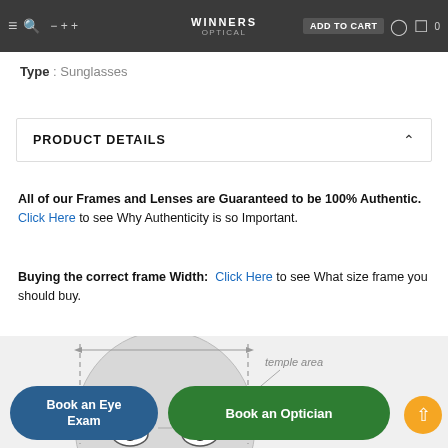Winners Optical — ADD TO CART navigation bar
Type : Sunglasses
PRODUCT DETAILS
All of our Frames and Lenses are Guaranteed to be 100% Authentic. Click Here to see Why Authenticity is so Important.
Buying the correct frame Width: Click Here to see What size frame you should buy.
[Figure (illustration): Diagram of a face showing the temple area of eyeglasses frame with measurement indicators]
temple area
Book an Eye Exam
Book an Optician